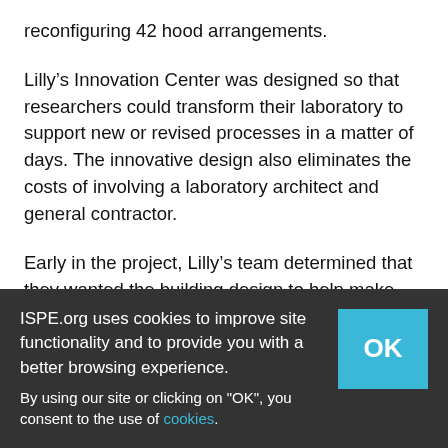reconfiguring 42 hood arrangements.
Lilly’s Innovation Center was designed so that researchers could transform their laboratory to support new or revised processes in a matter of days. The innovative design also eliminates the costs of involving a laboratory architect and general contractor.
Early in the project, Lilly’s team determined that they wanted the building design to help make collaboration easy and effective. As with the laboratories, workspaces were designed to be flexible and easy to configure based on the
ISPE.org uses cookies to improve site functionality and to provide you with a better browsing experience.
By using our site or clicking on "OK", you consent to the use of cookies.